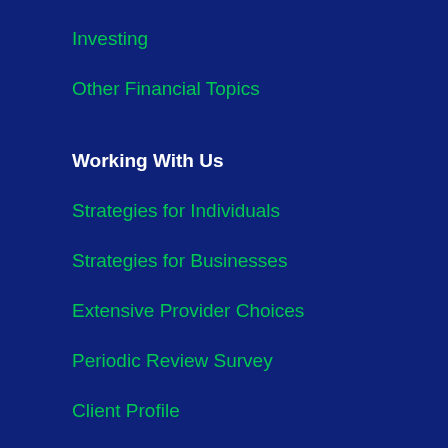Investing
Other Financial Topics
Working With Us
Strategies for Individuals
Strategies for Businesses
Extensive Provider Choices
Periodic Review Survey
Client Profile
Client Resources
Account Resources